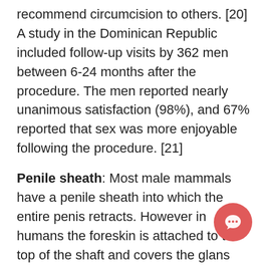recommend circumcision to others. [20] A study in the Dominican Republic included follow-up visits by 362 men between 6-24 months after the procedure. The men reported nearly unanimous satisfaction (98%), and 67% reported that sex was more enjoyable following the procedure. [21]
Penile sheath: Most male mammals have a penile sheath into which the entire penis retracts. However in humans the foreskin is attached to the top of the shaft and covers the glans when the penis is flaccid. During an erection the foreskin retracts to expose the glans. Sources above say that during sexual intercourse the fores acts as a sheath through which the